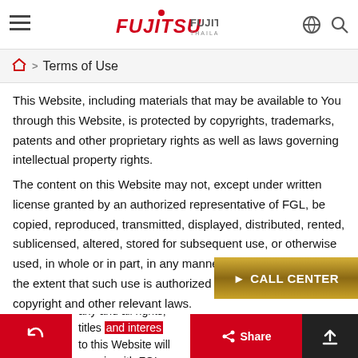FUJITSU FUJITSU GENERAL THAILAND
Terms of Use
This Website, including materials that may be available to You through this Website, is protected by copyrights, trademarks, patents and other proprietary rights as well as laws governing intellectual property rights.
The content on this Website may not, except under written license granted by an authorized representative of FGL, be copied, reproduced, transmitted, displayed, distributed, rented, sublicensed, altered, stored for subsequent use, or otherwise used, in whole or in part, in any manner whatsoever, except to the extent that such use is authorized under Japanese copyright and other relevant laws.
acknowledge that any and all rights, titles and interests to this Website will remain with FGL or its licensors. You